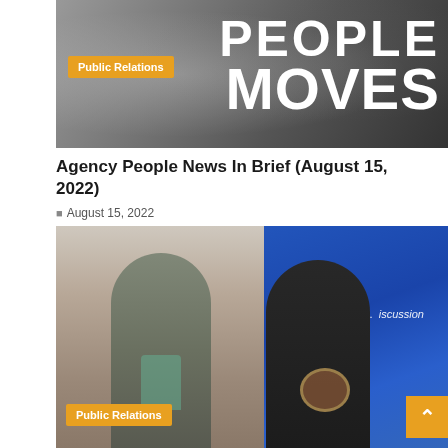[Figure (photo): Header banner image showing blurred people in black and white background with large white text reading 'PEOPLE MOVES' on the right side, and an orange 'Public Relations' badge on the left]
Agency People News In Brief (August 15, 2022)
August 15, 2022
[Figure (photo): Photo of two people standing together holding awards — a man in a suit holding a glass trophy and a woman holding a small clock award — in front of a blue projection screen showing partial text 'Q... Discussion'. An orange 'Public Relations' badge appears in the bottom left corner.]